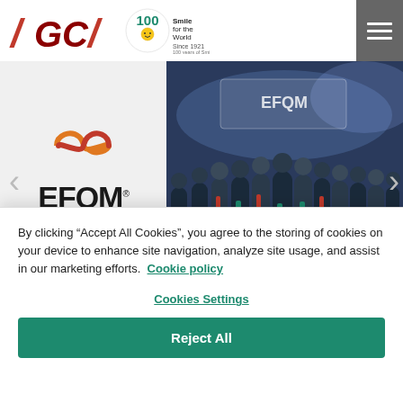[Figure (logo): GC dental company logo with '/' 'GC' '/' in red/dark red letters, plus 100th anniversary Smile for the World badge and 'Since 1921' text]
[Figure (photo): EFQM logo with orange infinity symbol and dark blue EFQM text, 'Global Excellence Award Winner - 2019' in orange text, alongside a group photo of people in formal attire at an EFQM award ceremony with EFQM banner in background]
GC EUROPE: First dental company to be a Global
By clicking “Accept All Cookies”, you agree to the storing of cookies on your device to enhance site navigation, analyze site usage, and assist in our marketing efforts.  Cookie policy
Cookies Settings
Reject All